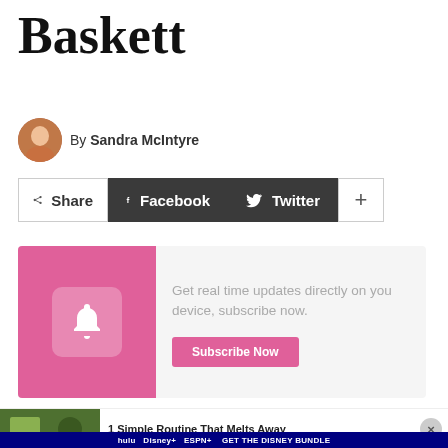Baskett
By Sandra McIntyre
[Figure (infographic): Share bar with Share, Facebook, Twitter, and + buttons]
[Figure (infographic): Subscribe notification box with pink left panel showing bell icon and text: Get real time updates directly on you device, subscribe now. Subscribe Now button.]
[Figure (infographic): Bottom article preview showing image on left, text: 1 Simple Routine That Melts Away, with close X button]
[Figure (infographic): Disney Bundle advertisement banner: hulu, Disney+, ESPN+ GET THE DISNEY BUNDLE. Incl. Hulu (ad-supported) or Hulu (No Ads). Access content from each service separately. ©2021 Disney and its related entities]